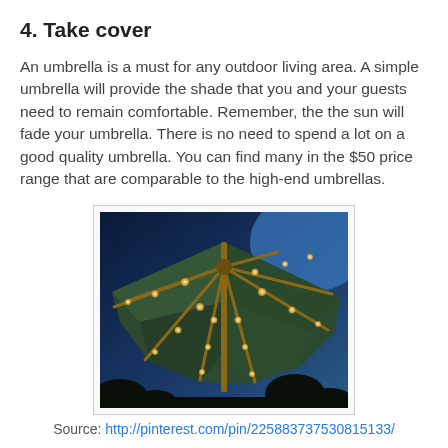4. Take cover
An umbrella is a must for any outdoor living area. A simple umbrella will provide the shade that you and your guests need to remain comfortable. Remember, the the sun will fade your umbrella. There is no need to spend a lot on a good quality umbrella. You can find many in the $50 price range that are comparable to the high-end umbrellas.
[Figure (photo): Photograph of the underside of a dark green patio umbrella at night, decorated with string lights along its spokes, set against a dark blue twilight sky with tree silhouettes.]
Source: http://pinterest.com/pin/225883737530815133/